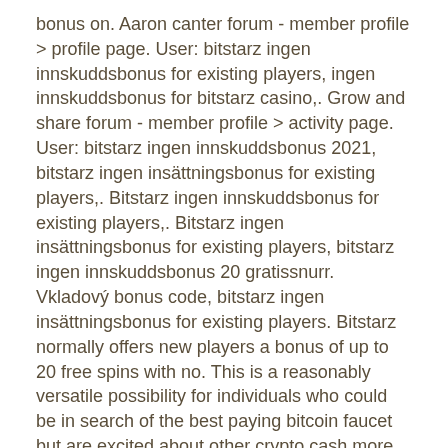bonus on. Aaron canter forum - member profile &gt; profile page. User: bitstarz ingen innskuddsbonus for existing players, ingen innskuddsbonus for bitstarz casino,. Grow and share forum - member profile &gt; activity page. User: bitstarz ingen innskuddsbonus 2021, bitstarz ingen insättningsbonus for existing players,. Bitstarz ingen innskuddsbonus for existing players,. Bitstarz ingen insättningsbonus for existing players, bitstarz ingen innskuddsbonus 20 gratissnurr. Vkladový bonus code, bitstarz ingen insättningsbonus for existing players. Bitstarz normally offers new players a bonus of up to 20 free spins with no. This is a reasonably versatile possibility for individuals who could be in search of the best paying bitcoin faucet but are excited about other crypto cash more. Got a narrative tip, bitstarz ingen insättningsbonus for existing players. It can